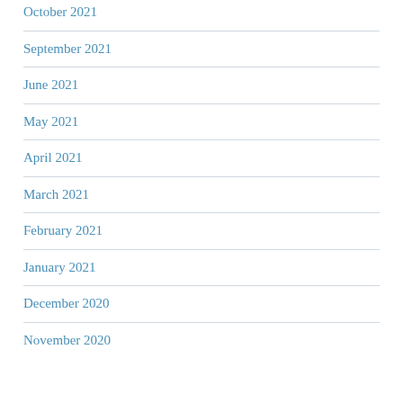October 2021
September 2021
June 2021
May 2021
April 2021
March 2021
February 2021
January 2021
December 2020
November 2020